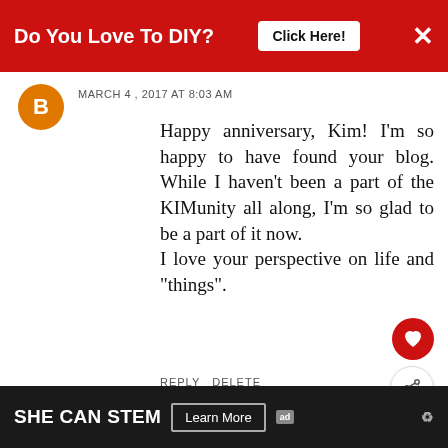[Figure (screenshot): Red ad banner at top: 'Do You Love To DIY?' with 'Click Here!' button and X close icon]
MARCH 4, 2017 AT 8:03 AM
Happy anniversary, Kim! I'm so happy to have found your blog. While I haven't been a part of the KIMunity all along, I'm so glad to be a part of it now.
I love your perspective on life and "things".
REPLY DELETE
REPLIES
Kim
[Figure (infographic): WHAT'S NEXT arrow and thumbnail for 'And I Said This Would...' widget]
[Figure (screenshot): Bottom ad banner: SHE CAN STEM with Learn More button]